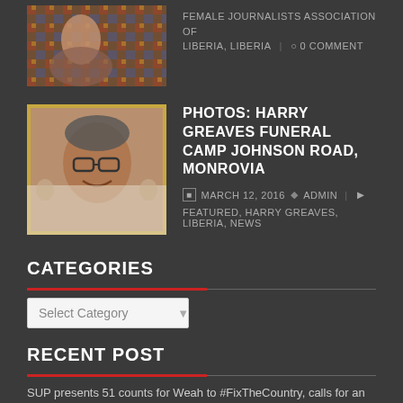[Figure (photo): Thumbnail photo of a person in colorful kente cloth]
FEMALE JOURNALISTS ASSOCIATION OF LIBERIA, LIBERIA  |  ○ 0 COMMENT
[Figure (photo): Portrait photo of Harry Greaves, a man with glasses smiling, framed in gold]
PHOTOS: HARRY GREAVES FUNERAL CAMP JOHNSON ROAD, MONROVIA
MARCH 12, 2016  ADMIN  |  FEATURED, HARRY GREAVES, LIBERIA, NEWS
CATEGORIES
Select Category
RECENT POST
SUP presents 51 counts for Weah to #FixTheCountry, calls for an independent investigation into July 26 violence
SIM Cautions UL Administration Regarding PROSA’s “Protest” on August 24, 2022, after SUP announced its protest